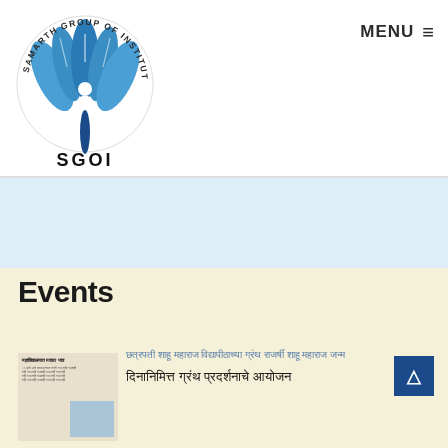[Figure (logo): Samarth Group of Institutions (SGOI) circular logo with blue lotus/fan design and text around the circle. 'SGOI' text in bold black below.]
MENU ≡
[Figure (photo): Newspaper clipping thumbnail showing Marathi text headline and a photo of a person speaking at a podium.]
Events
छत्रपती शाहू महाराज विद्यापीठाच्या ग्रंथ राजर्षी शाहू महाराज जन्म दिनानिमित्त ग्रंथ प्रदर्शनाचे आयोजन